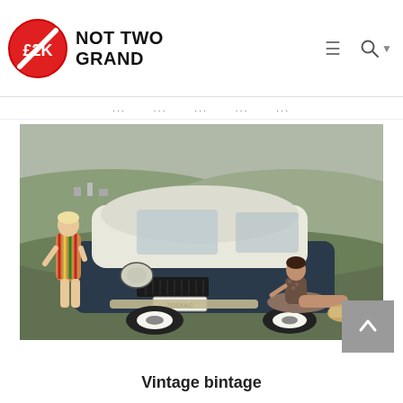Not Two Grand - £2K logo navigation bar
[Figure (photo): Vintage promotional photo of a Ford Zodiac car (two-tone white and dark blue) on a grass hill. Two women pose with the car — one standing in a colourful striped outfit to the left, one sitting on the grass to the right in a patterned dress. The car's front licence plate reads ZODIAC. Rolling hills and a suburban town visible in the background.]
Vintage bintage